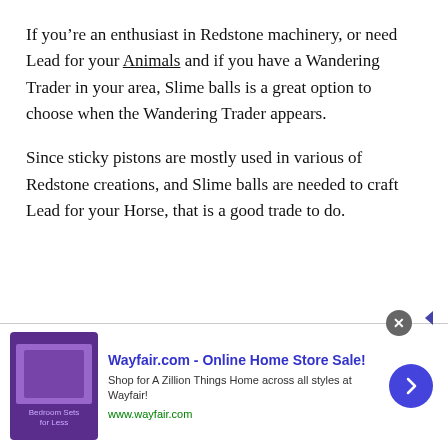If you’re an enthusiast in Redstone machinery, or need Lead for your Animals and if you have a Wandering Trader in your area, Slime balls is a great option to choose when the Wandering Trader appears.
Since sticky pistons are mostly used in various of Redstone creations, and Slime balls are needed to craft Lead for your Horse, that is a good trade to do.
[Figure (other): Wayfair.com advertisement banner showing bedroom furniture image and text: Wayfair.com - Online Home Store Sale! Shop for A Zillion Things Home across all styles at Wayfair! www.wayfair.com]